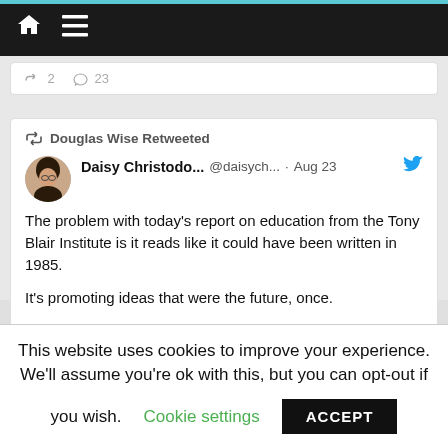Navigation bar with home and menu icons
2  23
Douglas Wise Retweeted
Daisy Christodo... @daisych... · Aug 23
The problem with today's report on education from the Tony Blair Institute is it reads like it could have been written in 1985.

It's promoting ideas that were the future, once.

And it doesn't even seem aware of genuinely
This website uses cookies to improve your experience. We'll assume you're ok with this, but you can opt-out if you wish.
Cookie settings
ACCEPT